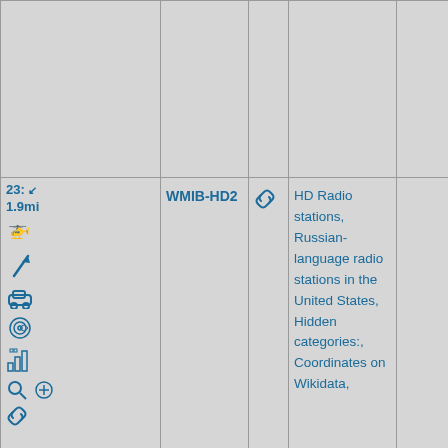| #/Distance/Icons | Station | Link | Categories |  |
| --- | --- | --- | --- | --- |
| 23: ↙ 1.9mi [helicopter icon] [arrow icon] [car icon] [swirl icon] [building icon] [search icon] [+] [link icon] | WMIB-HD2 | [link icon] | HD Radio stations, Russian-language radio stations in the United States, Hidden categories:, Coordinates on Wikidata, |  |